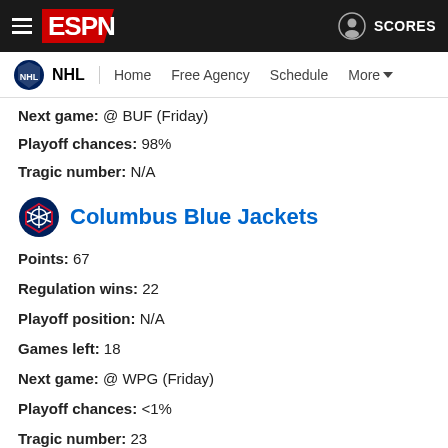ESPN NHL navigation header
Next game: @ BUF (Friday)
Playoff chances: 98%
Tragic number: N/A
Columbus Blue Jackets
Points: 67
Regulation wins: 22
Playoff position: N/A
Games left: 18
Next game: @ WPG (Friday)
Playoff chances: <1%
Tragic number: 23
New York Islanders